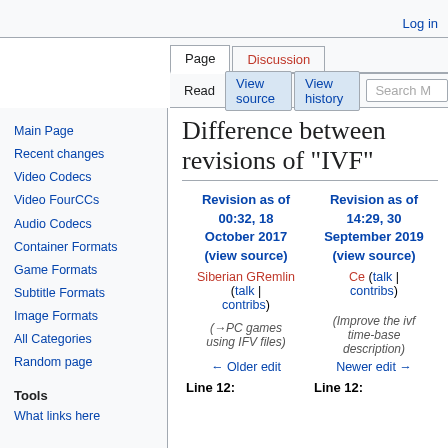Log in
Difference between revisions of "IVF"
Main Page
Recent changes
Video Codecs
Video FourCCs
Audio Codecs
Container Formats
Game Formats
Subtitle Formats
Image Formats
All Categories
Random page
Tools
What links here
| Revision as of 00:32, 18 October 2017 (view source) | Revision as of 14:29, 30 September 2019 (view source) |
| --- | --- |
| Siberian GRemlin (talk | contribs) | Ce (talk | contribs) |
| (→PC games using IFV files) | (Improve the ivf time-base description) |
| ← Older edit | Newer edit → |
| Line 12: | Line 12: |